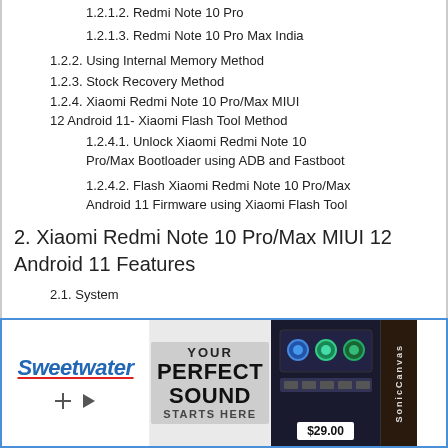1.2.1.2. Redmi Note 10 Pro
1.2.1.3. Redmi Note 10 Pro Max India
1.2.2. Using Internal Memory Method
1.2.3. Stock Recovery Method
1.2.4. Xiaomi Redmi Note 10 Pro/Max MIUI 12 Android 11- Xiaomi Flash Tool Method
1.2.4.1. Unlock Xiaomi Redmi Note 10 Pro/Max Bootloader using ADB and Fastboot
1.2.4.2. Flash Xiaomi Redmi Note 10 Pro/Max Android 11 Firmware using Xiaomi Flash Tool
2. Xiaomi Redmi Note 10 Pro/Max MIUI 12 Android 11 Features
2.1. System
[Figure (photo): Sweetwater advertisement banner showing 'YOUR PERFECT SOUND STARTS HERE' with audio equipment, knobs/controls interface, and $29.00 price tag]